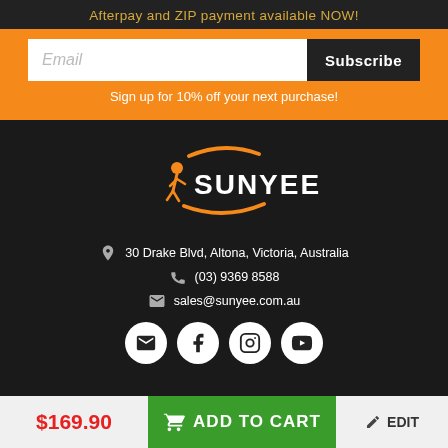Afterpay and ZIP payment available NOW!
Email
Subscribe
Sign up for 10% off your next purchase!
[Figure (logo): Sunyee brand logo with orange swoosh and running figure icon, white text SUNYEE on dark background]
30 Drake Blvd, Altona, Victoria, Australia
(03) 9369 8588
sales@sunyee.com.au
[Figure (infographic): Four social media icon circles: email/envelope, Facebook, Instagram, YouTube]
$169.90
ADD TO CART
EDIT